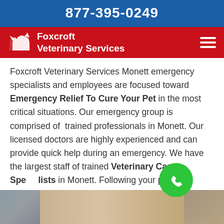877-395-0249
[Figure (logo): Foxcroft Veterinary Services logo with red background, white dog/cat silhouette icon with plus sign, and white text reading 'Foxcroft Veterinary Services'. Hamburger menu icon on the right.]
Foxcroft Veterinary Services Monett emergency specialists and employees are focused toward Emergency Relief To Cure Your Pet in the most critical situations. Our emergency group is comprised of trained professionals in Monett. Our licensed doctors are highly experienced and can provide quick help during an emergency. We have the largest staff of trained Veterinary Care Specialists in Monett. Following your pet's emergencyure your pet continues down the road to recovery.
[Figure (photo): Photo at the bottom showing hands examining or treating an animal, with books visible in the background.]